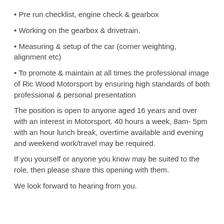Pre run checklist, engine check & gearbox
Working on the gearbox & drivetrain.
Measuring & setup of the car (corner weighting, alignment etc)
To promote & maintain at all times the professional image of Ric Wood Motorsport by ensuring high standards of both professional & personal presentation
The position is open to anyone aged 16 years and over with an interest in Motorsport. 40 hours a week, 8am- 5pm with an hour lunch break, overtime available and evening and weekend work/travel may be required.
If you yourself or anyone you know may be suited to the role, then please share this opening with them.
We look forward to hearing from you.